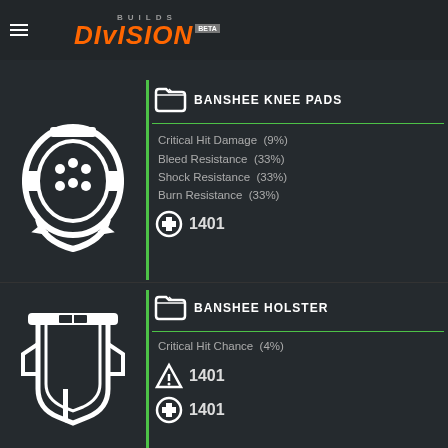Division Builds BETA
BANSHEE KNEE PADS
Critical Hit Damage  (9%)
Bleed Resistance  (33%)
Shock Resistance  (33%)
Burn Resistance  (33%)
1401
BANSHEE HOLSTER
Critical Hit Chance  (4%)
1401
1401